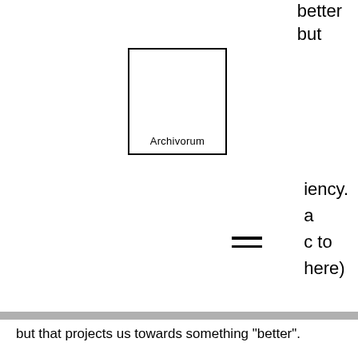better
but
[Figure (logo): Archivorum logo: a rectangle outline with the word 'Archivorum' at the bottom]
iency.
a
c to
here)
[Figure (other): Hamburger menu icon with two horizontal lines]
but that projects us towards something "better".
The February Edition of TEDx Archivorum will take place on the 11th of February from 3.00 pm to 6.45 pm (CET) on Zoom.
Click here to see the videos!
We invite you to discover our truly extraordinary guests. All of them are deeply committed to tackling climate change and promoting a more